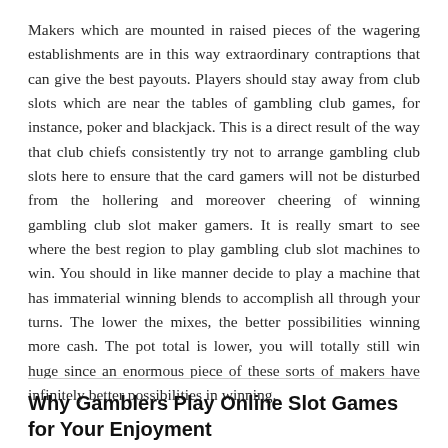Makers which are mounted in raised pieces of the wagering establishments are in this way extraordinary contraptions that can give the best payouts. Players should stay away from club slots which are near the tables of gambling club games, for instance, poker and blackjack. This is a direct result of the way that club chiefs consistently try not to arrange gambling club slots here to ensure that the card gamers will not be disturbed from the hollering and moreover cheering of winning gambling club slot maker gamers. It is really smart to see where the best region to play gambling club slot machines to win. You should in like manner decide to play a machine that has immaterial winning blends to accomplish all through your turns. The lower the mixes, the better possibilities winning more cash. The pot total is lower, you will totally still win huge since an enormous piece of these sorts of makers have infinitely better possibilities in winning.
Why Gamblers Play Online Slot Games for Your Enjoyment